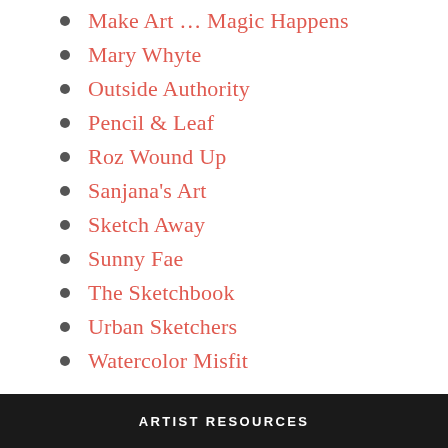Make Art … Magic Happens
Mary Whyte
Outside Authority
Pencil & Leaf
Roz Wound Up
Sanjana's Art
Sketch Away
Sunny Fae
The Sketchbook
Urban Sketchers
Watercolor Misfit
ARTIST RESOURCES